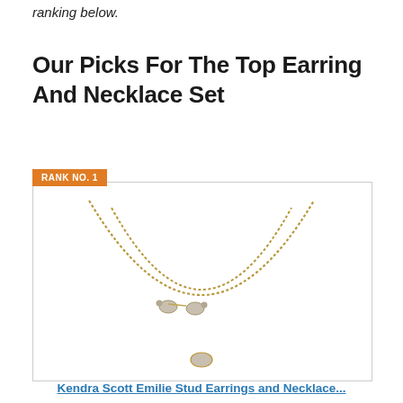ranking below.
Our Picks For The Top Earring And Necklace Set
RANK NO. 1
[Figure (photo): Product photo of Kendra Scott Emilie Stud Earrings and Necklace set — a double-strand gold chain necklace with a small stone pendant, and two oval stud earrings, displayed on a white background.]
Kendra Scott Emilie Stud Earrings and Necklace...